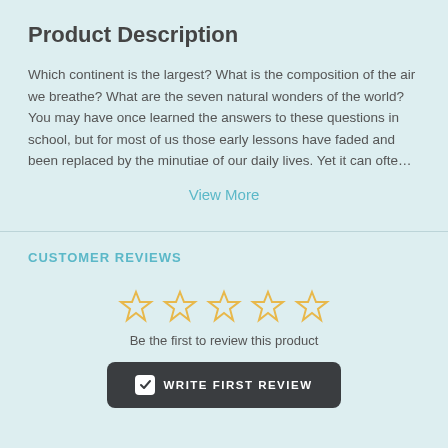Product Description
Which continent is the largest? What is the composition of the air we breathe? What are the seven natural wonders of the world? You may have once learned the answers to these questions in school, but for most of us those early lessons have faded and been replaced by the minutiae of our daily lives. Yet it can ofte…
View More
CUSTOMER REVIEWS
[Figure (other): Five empty star rating icons in gold/yellow outline]
Be the first to review this product
WRITE FIRST REVIEW